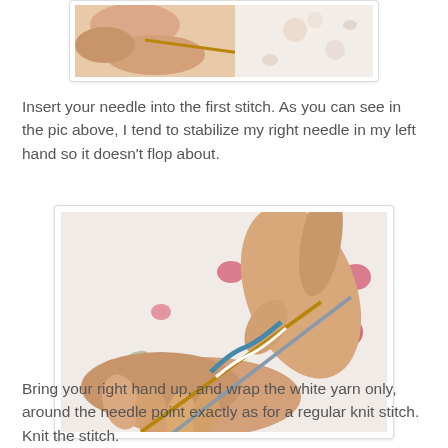[Figure (photo): Close-up photo of hands holding knitting needles with yarn, on a floral fabric background — top portion of image visible.]
Insert your needle into the first stitch. As you can see in the pic above, I tend to stabilize my right needle in my left hand so it doesn't flop about.
[Figure (photo): Photo of two hands manipulating knitting needles with blue/white yarn against a white floral fabric background with red roses.]
Bring your right hand up, and wrap the white yarn only, around the needle point exactly as for a regular knit stitch. Knit the stitch.